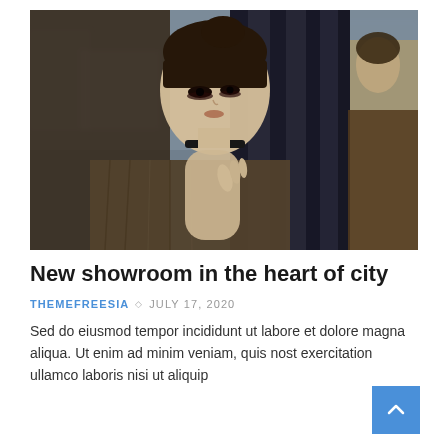[Figure (photo): A fashion mannequin with short brown hair and dark eye makeup, wearing a patterned knit jacket and choker necklace, posed against vertical curtain-like panels. A second mannequin is partially visible on the right side against a blurred city background.]
New showroom in the heart of city
THEMEFREESIA ◇ JULY 17, 2020
Sed do eiusmod tempor incididunt ut labore et dolore magna aliqua. Ut enim ad minim veniam, quis nost exercitation ullamco laboris nisi ut aliquip